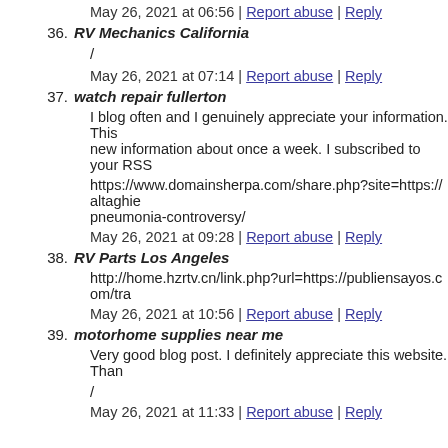May 26, 2021 at 06:56 | Report abuse | Reply
36. RV Mechanics California
/
May 26, 2021 at 07:14 | Report abuse | Reply
37. watch repair fullerton
I blog often and I genuinely appreciate your information. This new information about once a week. I subscribed to your RSS
https://www.domainsherpa.com/share.php?site=https://altaghie pneumonia-controversy/
May 26, 2021 at 09:28 | Report abuse | Reply
38. RV Parts Los Angeles
http://home.hzrtv.cn/link.php?url=https://publiensayos.com/tra
May 26, 2021 at 10:56 | Report abuse | Reply
39. motorhome supplies near me
Very good blog post. I definitely appreciate this website. Than
/
May 26, 2021 at 11:33 | Report abuse | Reply